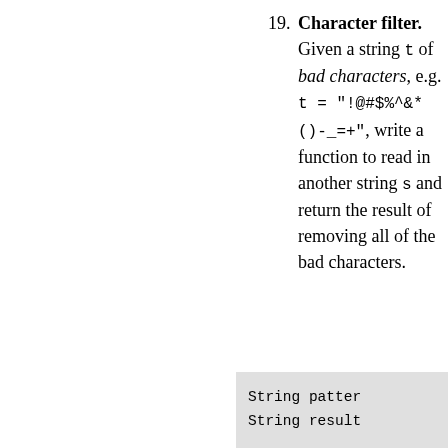19. Character filter. Given a string t of bad characters, e.g. t = "!@#$%^&*()-_+", write a function to read in another string s and return the result of removing all of the bad characters.
[Figure (screenshot): Code snippet showing: String patter... String result...]